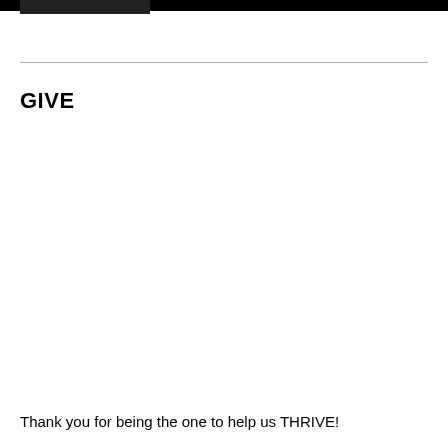GIVE
Thank you for being the one to help us THRIVE!